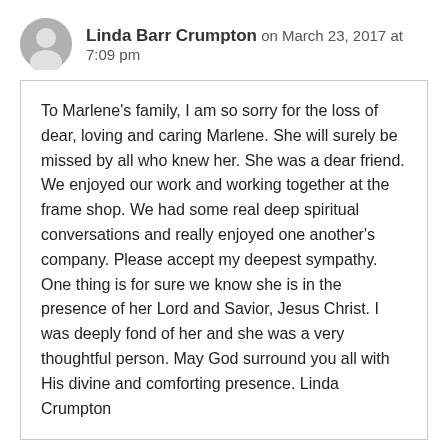Linda Barr Crumpton on March 23, 2017 at 7:09 pm
To Marlene's family, I am so sorry for the loss of dear, loving and caring Marlene. She will surely be missed by all who knew her. She was a dear friend. We enjoyed our work and working together at the frame shop. We had some real deep spiritual conversations and really enjoyed one another's company. Please accept my deepest sympathy. One thing is for sure we know she is in the presence of her Lord and Savior, Jesus Christ. I was deeply fond of her and she was a very thoughtful person. May God surround you all with His divine and comforting presence. Linda Crumpton
Reply
Vickie Deal Betsy on March 24, 2017 at 3:03 pm